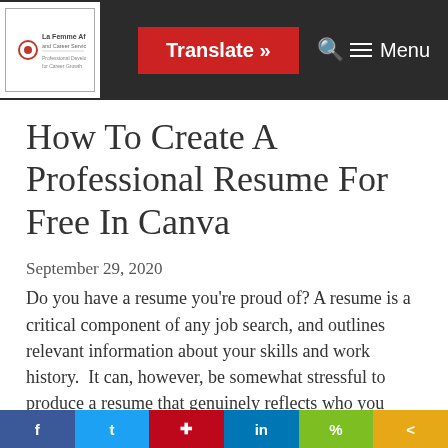Translate » [search icon] Menu
How To Create A Professional Resume For Free In Canva
September 29, 2020
Do you have a resume you're proud of? A resume is a critical component of any job search, and outlines relevant information about your skills and work history.  It can, however, be somewhat stressful to produce a resume that genuinely reflects who you are as a person, and how to present a
f  t  p  in  %  <